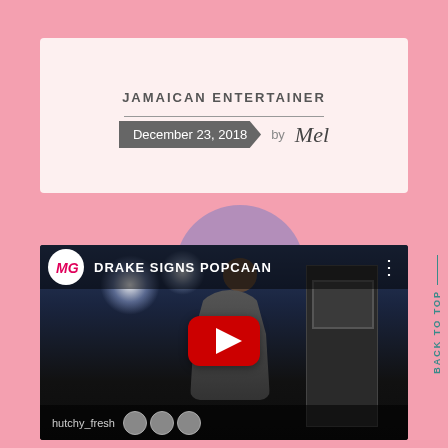JAMAICAN ENTERTAINER
December 23, 2018  by Mel
[Figure (screenshot): YouTube video thumbnail showing a concert performance with text 'DRAKE SIGNS POPCAAN' and a YouTube play button overlay. A performer is on stage with lights and a speaker tower visible.]